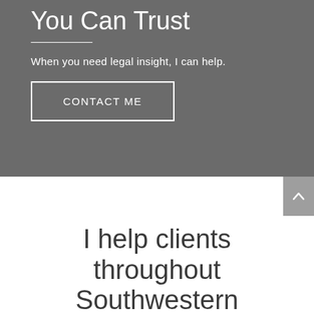You Can Trust
When you need legal insight, I can help.
CONTACT ME
I help clients throughout Southwestern